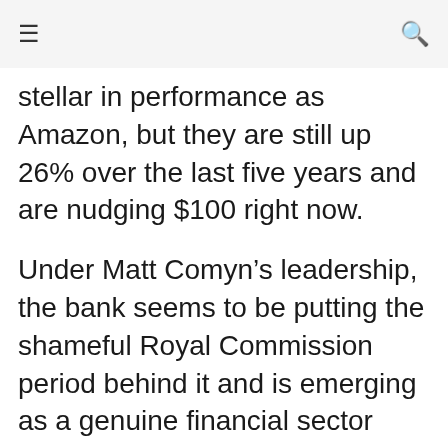≡  🔍
stellar in performance as Amazon, but they are still up 26% over the last five years and are nudging $100 right now.
Under Matt Comyn's leadership, the bank seems to be putting the shameful Royal Commission period behind it and is emerging as a genuine financial sector innovator.
There's not only the capital growth in the share price to consider, but there are also the dividends which were almost doubled in the recent profit result to $1.98 per share.